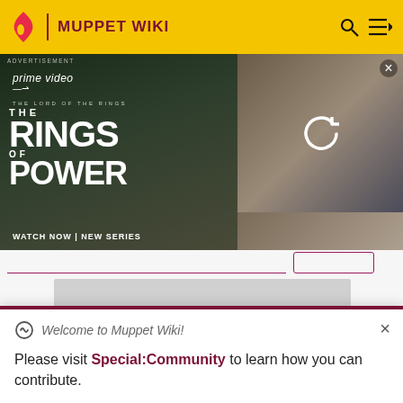MUPPET WIKI
[Figure (screenshot): Amazon Prime Video advertisement for 'The Lord of the Rings: The Rings of Power' showing a robed figure and blond woman. Text: 'prime video', 'THE LORD OF THE RINGS', 'THE RINGS OF POWER', 'WATCH NOW | NEW SERIES'. Also shows a reload icon on right panel.]
[Figure (screenshot): Gray placeholder advertisement block]
Welcome to Muppet Wiki!
Please visit Special:Community to learn how you can contribute.